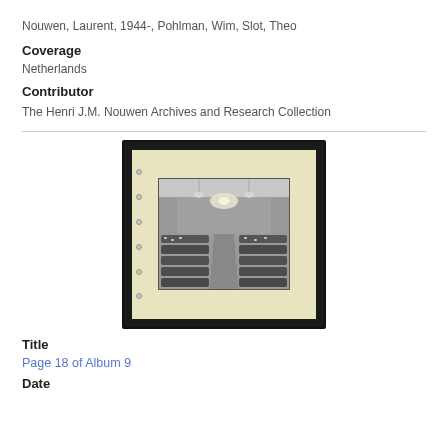Nouwen, Laurent, 1944-, Pohlman, Wim, Slot, Theo
Coverage
Netherlands
Contributor
The Henri J.M. Nouwen Archives and Research Collection
[Figure (photo): A black-and-white photograph mounted on a cream/yellow album page with a dark border, showing a formal dining hall scene with people seated at long tables with a central aisle, viewed from one end of the room.]
Title
Page 18 of Album 9
Date